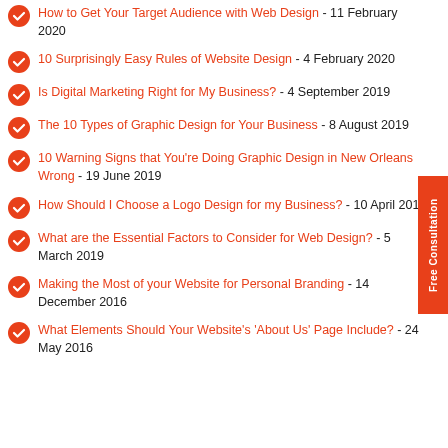How to Get Your Target Audience with Web Design - 11 February 2020
10 Surprisingly Easy Rules of Website Design - 4 February 2020
Is Digital Marketing Right for My Business? - 4 September 2019
The 10 Types of Graphic Design for Your Business - 8 August 2019
10 Warning Signs that You're Doing Graphic Design in New Orleans Wrong - 19 June 2019
How Should I Choose a Logo Design for my Business? - 10 April 2019
What are the Essential Factors to Consider for Web Design? - 5 March 2019
Making the Most of your Website for Personal Branding - 14 December 2016
What Elements Should Your Website's 'About Us' Page Include? - 24 May 2016